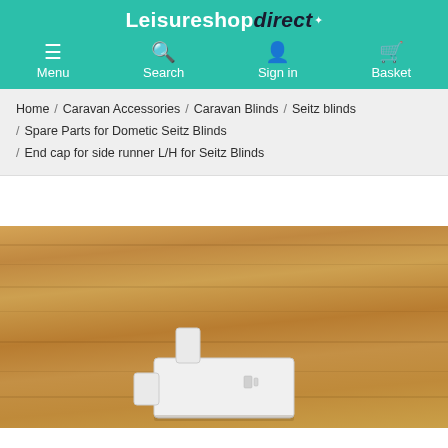Leisureshop direct — Menu, Search, Sign in, Basket
Home / Caravan Accessories / Caravan Blinds / Seitz blinds / Spare Parts for Dometic Seitz Blinds / End cap for side runner L/H for Seitz Blinds
[Figure (photo): White plastic end cap for side runner against a wooden background]